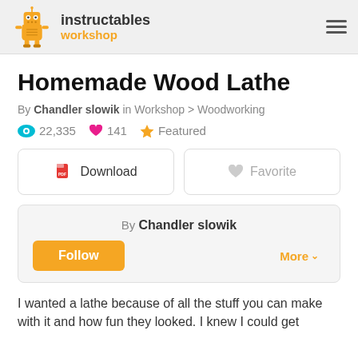instructables workshop
Homemade Wood Lathe
By Chandler slowik in Workshop > Woodworking
22,335  141  Featured
Download  Favorite
By Chandler slowik
Follow
More
I wanted a lathe because of all the stuff you can make with it and how fun they looked. I knew I could get